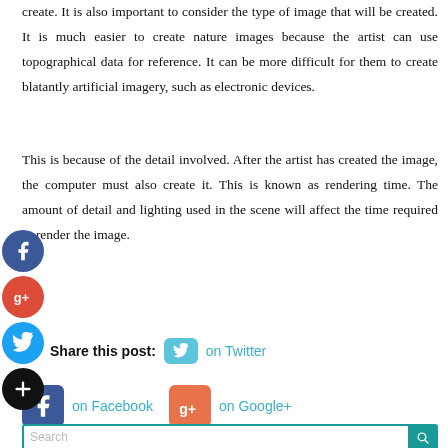create. It is also important to consider the type of image that will be created. It is much easier to create nature images because the artist can use topographical data for reference. It can be more difficult for them to create blatantly artificial imagery, such as electronic devices.
This is because of the detail involved. After the artist has created the image, the computer must also create it. This is known as rendering time. The amount of detail and lighting used in the scene will affect the time required to render the image.
Share this post: on Twitter on Facebook on Google+
[Figure (other): Social media share buttons: Twitter, Facebook, Google+. Also sidebar social icons: Facebook, Google+, Twitter, Add.]
Search